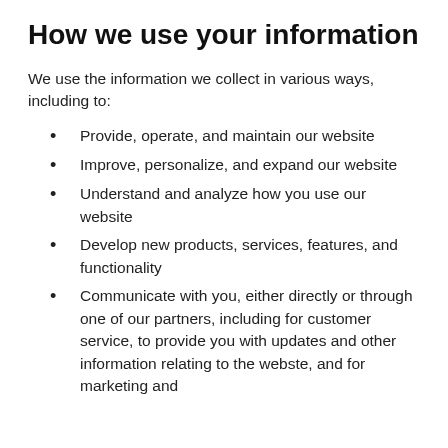How we use your information
We use the information we collect in various ways, including to:
Provide, operate, and maintain our website
Improve, personalize, and expand our website
Understand and analyze how you use our website
Develop new products, services, features, and functionality
Communicate with you, either directly or through one of our partners, including for customer service, to provide you with updates and other information relating to the webste, and for marketing and